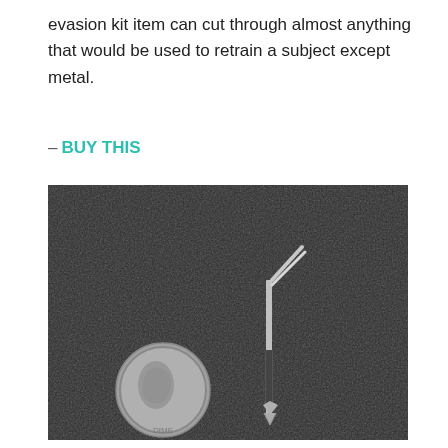evasion kit item can cut through almost anything that would be used to retrain a subject except metal.
– BUY THIS
[Figure (photo): Black and white photograph on dark textured background showing a US dime coin on the left side and a small L-shaped metal tool (resembling a miniature handsaw or lock pick) on the right side, for size comparison.]